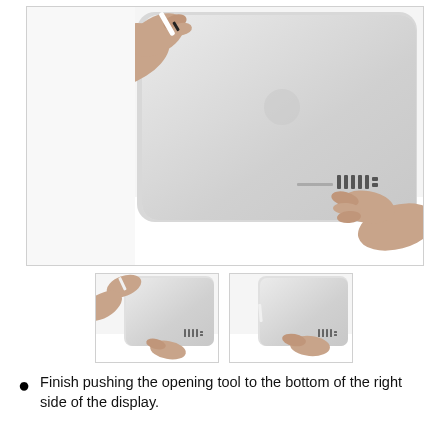[Figure (photo): A hand using an opening tool at the top-left corner of the back of an iMac display, and another hand at the bottom-right near the ports, showing the process of opening the display.]
[Figure (photo): Thumbnail: Hand using opening tool at top of iMac display back, with another hand at bottom.]
[Figure (photo): Thumbnail: Hand pressing opening tool along the right side of iMac display.]
Finish pushing the opening tool to the bottom of the right side of the display.